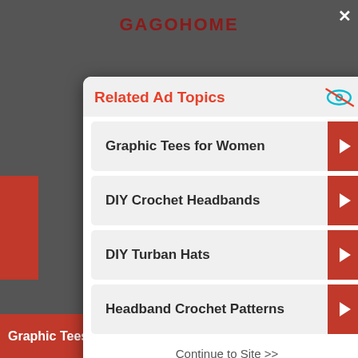[Figure (screenshot): Background website screenshot showing GAGOHOME header, red side bars, and bottom red banner with Graphic Tees for Women]
Related Ad Topics
Graphic Tees for Women
DIY Crochet Headbands
DIY Turban Hats
Headband Crochet Patterns
Continue to Site >>